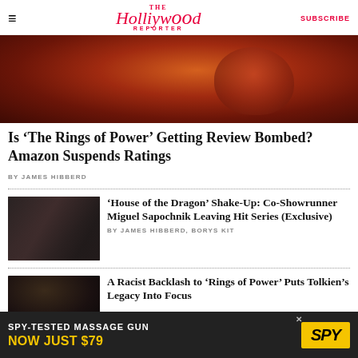The Hollywood Reporter | SUBSCRIBE
[Figure (photo): Hero image with reddish-orange toned photo, appears to show an animal or dramatic scene with deep red lighting]
Is ‘The Rings of Power’ Getting Review Bombed? Amazon Suspends Ratings
BY JAMES HIBBERD
[Figure (photo): Thumbnail showing two people in a dark scene from House of the Dragon]
‘House of the Dragon’ Shake-Up: Co-Showrunner Miguel Sapochnik Leaving Hit Series (Exclusive)
BY JAMES HIBBERD, BORYS KIT
[Figure (photo): Thumbnail showing a person with curly dark hair]
A Racist Backlash to ‘Rings of Power’ Puts Tolkien’s Legacy Into Focus
[Figure (other): Advertisement banner: SPY-TESTED MASSAGE GUN NOW JUST $79 with SPY logo]